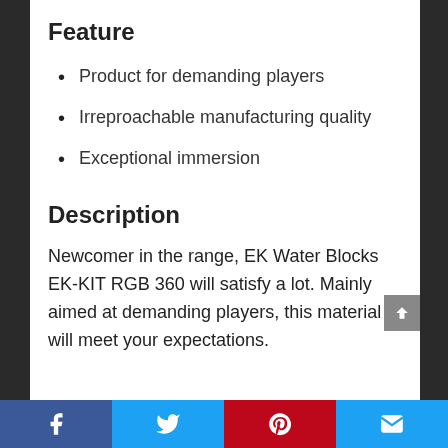Feature
Product for demanding players
Irreproachable manufacturing quality
Exceptional immersion
Description
Newcomer in the range, EK Water Blocks EK-KIT RGB 360 will satisfy a lot. Mainly aimed at demanding players, this material will meet your expectations.